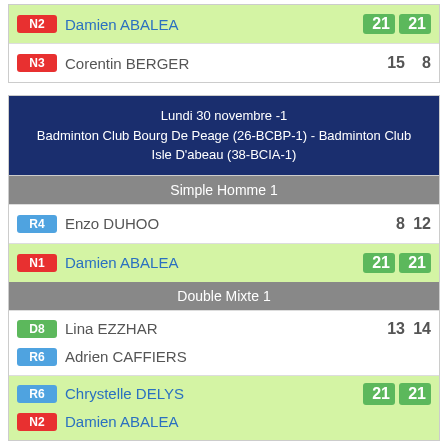| Badge | Player | Score1 | Score2 |
| --- | --- | --- | --- |
| N2 | Damien ABALEA | 21 | 21 |
| N3 | Corentin BERGER | 15 | 8 |
Lundi 30 novembre -1
Badminton Club Bourg De Peage (26-BCBP-1) - Badminton Club Isle D'abeau (38-BCIA-1)
Simple Homme 1
| Badge | Player | Score1 | Score2 |
| --- | --- | --- | --- |
| R4 | Enzo DUHOO | 8 | 12 |
| N1 | Damien ABALEA | 21 | 21 |
Double Mixte 1
| Badge | Player | Score1 | Score2 |
| --- | --- | --- | --- |
| D8 | Lina EZZHAR | 13 | 14 |
| R6 | Adrien CAFFIERS | 13 | 14 |
| R6 | Chrystelle DELYS | 21 | 21 |
| N2 | Damien ABALEA | 21 | 21 |
Lundi 30 novembre -1
Badminton Club Isle D'abeau (38-BCIA-1) - Grenoble Alpes